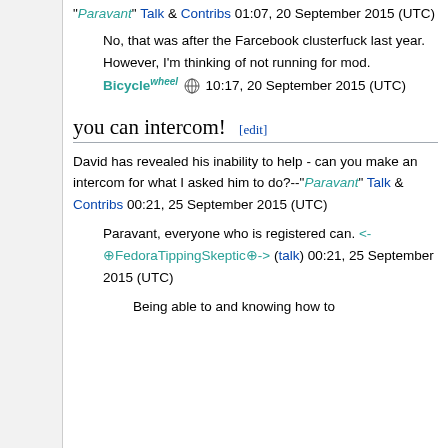"Paravant" Talk & Contribs 01:07, 20 September 2015 (UTC)
No, that was after the Farcebook clusterfuck last year. However, I'm thinking of not running for mod. Bicyclewheel ⊕ 10:17, 20 September 2015 (UTC)
you can intercom! [edit]
David has revealed his inability to help - can you make an intercom for what I asked him to do?--"Paravant" Talk & Contribs 00:21, 25 September 2015 (UTC)
Paravant, everyone who is registered can. <-⊕FedoraTippingSkeptic⊕-> (talk) 00:21, 25 September 2015 (UTC)
Being able to and knowing how to